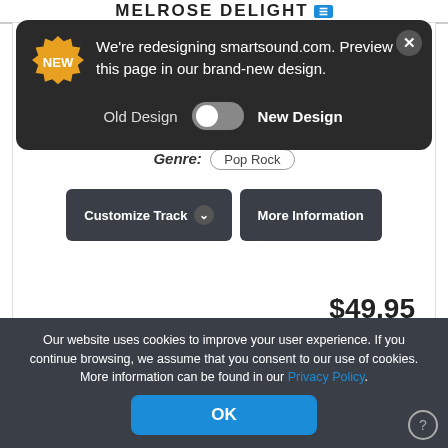MELROSE DELIGHT
[Figure (screenshot): Dark modal popup with 'NEW' badge, toggle switch between Old Design and New Design for smartsound.com redesign preview]
Genre: Pop Rock
Customize Track
More Information
$49.95
Add Track To Playlist
Buy Now
Our website uses cookies to improve your user experience. If you continue browsing, we assume that you consent to our use of cookies. More information can be found in our Privacy Policy.
OK